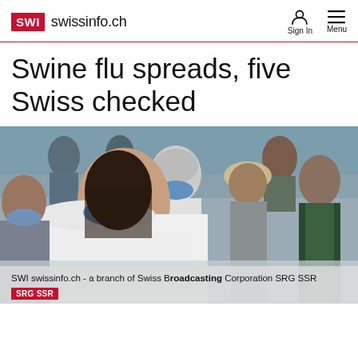SWI swissinfo.ch
Swine flu spreads, five Swiss checked
[Figure (photo): People wearing blue surgical face masks standing in a line, including a woman wrapped in white fabric in the foreground and a man in a cowboy hat in the background. The image relates to swine flu coverage.]
SWI swissinfo.ch - a branch of Swiss Broadcasting Corporation SRG SSR